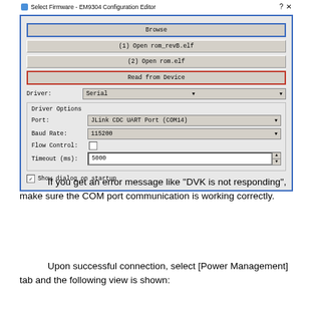[Figure (screenshot): Dialog box titled 'Select Firmware - EM9304 Configuration Editor' showing Browse button (blue outline), (1) Open rom_revB.elf button, (2) Open rom.elf button, Read from Device button (red outline), Driver field set to Serial, Driver Options section with Port set to JLink CDC UART Port (COM14), Baud Rate set to 115200, Flow Control unchecked, Timeout (ms) set to 5000, and Show dialog on startup checkbox checked.]
If you get an error message like “DVK is not responding”, make sure the COM port communication is working correctly.
Upon successful connection, select [Power Management] tab and the following view is shown: